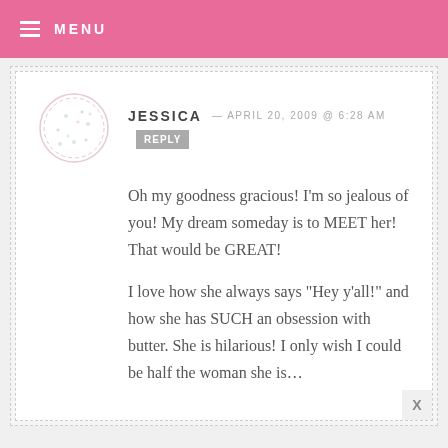MENU
JESSICA — APRIL 20, 2009 @ 6:28 AM  REPLY

Oh my goodness gracious! I'm so jealous of you! My dream someday is to MEET her! That would be GREAT!

I love how she always says "Hey y'all!" and how she has SUCH an obsession with butter. She is hilarious! I only wish I could be half the woman she is...